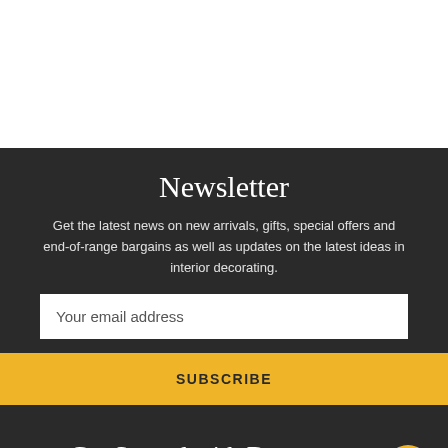Newsletter
Get the latest news on new arrivals, gifts, special offers and end-of-range bargains as well as updates on the latest ideas in interior decorating.
Your email address
SUBSCRIBE
Get Started with Decor... Call us today for assistance.